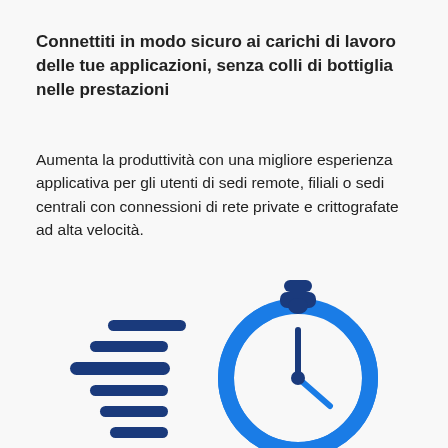Connettiti in modo sicuro ai carichi di lavoro delle tue applicazioni, senza colli di bottiglia nelle prestazioni
Aumenta la produttività con una migliore esperienza applicativa per gli utenti di sedi remote, filiali o sedi centrali con connessioni di rete private e crittografate ad alta velocità.
[Figure (illustration): Blue icon illustration of a stopwatch/clock with speed lines (horizontal bars) to its left, suggesting fast performance or high speed connectivity.]